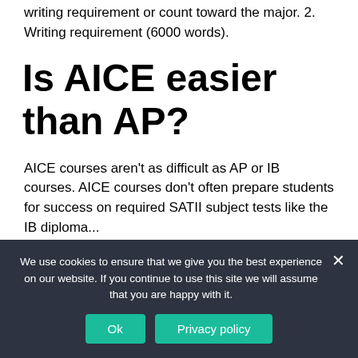writing requirement or count toward the major. 2. Writing requirement (6000 words).
Is AICE easier than AP?
AICE courses aren't as difficult as AP or IB courses. AICE courses don't often prepare students for success on required SATII subject tests like the IB diploma...
We use cookies to ensure that we give you the best experience on our website. If you continue to use this site we will assume that you are happy with it.